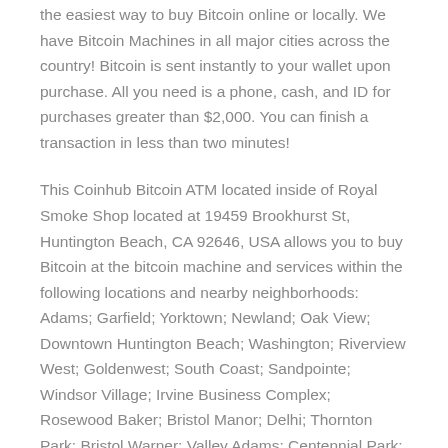the easiest way to buy Bitcoin online or locally. We have Bitcoin Machines in all major cities across the country! Bitcoin is sent instantly to your wallet upon purchase. All you need is a phone, cash, and ID for purchases greater than $2,000. You can finish a transaction in less than two minutes!
This Coinhub Bitcoin ATM located inside of Royal Smoke Shop located at 19459 Brookhurst St, Huntington Beach, CA 92646, USA allows you to buy Bitcoin at the bitcoin machine and services within the following locations and nearby neighborhoods: Adams; Garfield; Yorktown; Newland; Oak View; Downtown Huntington Beach; Washington; Riverview West; Goldenwest; South Coast; Sandpointe; Windsor Village; Irvine Business Complex; Rosewood Baker; Bristol Manor; Delhi; Thornton Park; Bristol Warner; Valley Adams; Centennial Park; New Horizons; Santa Anita Park; Mar-les; Artesia Pilar; San Joaquin Marsh; Bolsa Chica-Heil; University